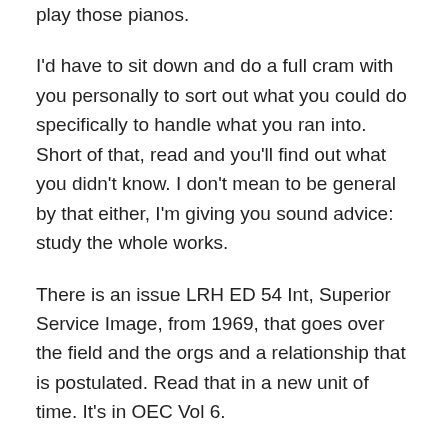play those pianos.
I'd have to sit down and do a full cram with you personally to sort out what you could do specifically to handle what you ran into. Short of that, read and you'll find out what you didn't know. I don't mean to be general by that either, I'm giving you sound advice: study the whole works.
There is an issue LRH ED 54 Int, Superior Service Image, from 1969, that goes over the field and the orgs and a relationship that is postulated. Read that in a new unit of time. It's in OEC Vol 6.
The marks' purpose is to guarantee what you are getting is LRH Scientology. That's the stuff that